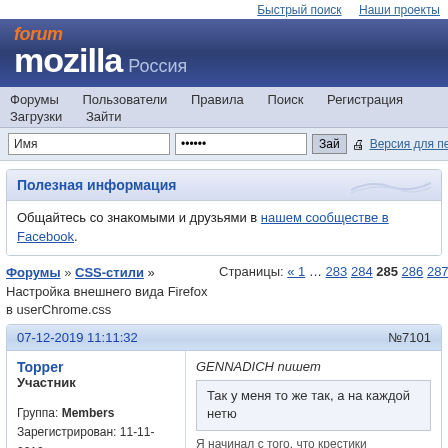Быстрый поиск   Наши проекты
[Figure (logo): forum mozilla Россия logo on dark blue banner]
Форумы  Пользователи  Правила  Поиск  Регистрация  Загрузки  Зайти
Имя [input] •••••• [input] Зай [button] 🖨 Версия для печати
Полезная информация
Общайтесь со знакомыми и друзьями в нашем сообществе в Facebook.
Форумы » CSS-стили » Настройка внешнего вида Firefox в userChrome.css   Страницы: « 1 … 283 284 285 286 287 … 497 # »
07-12-2019 11:11:32   №7101
Topper
Участник

Группа: Members
Зарегистрирован: 11-11-2012
Сообщений: 65
GENNADICH пишет
Так у меня то же так, а на каждой нетю

Я начинал с того, что крестики